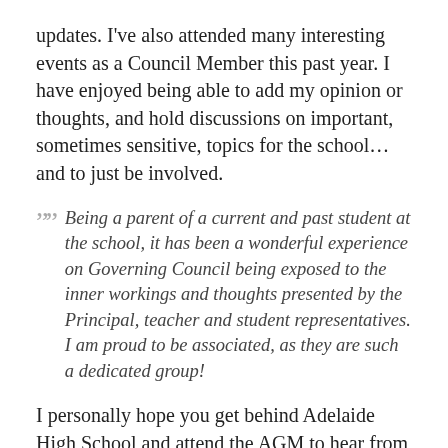updates. I've also attended many interesting events as a Council Member this past year. I have enjoyed being able to add my opinion or thoughts, and hold discussions on important, sometimes sensitive, topics for the school… and to just be involved.
Being a parent of a current and past student at the school, it has been a wonderful experience on Governing Council being exposed to the inner workings and thoughts presented by the Principal, teacher and student representatives. I am proud to be associated, as they are such a dedicated group!
I personally hope you get behind Adelaide High School and attend the AGM to hear from their representatives. I know, the Governing Council's focus this year, and in particular this first quarter, is to support the school process to begin re-